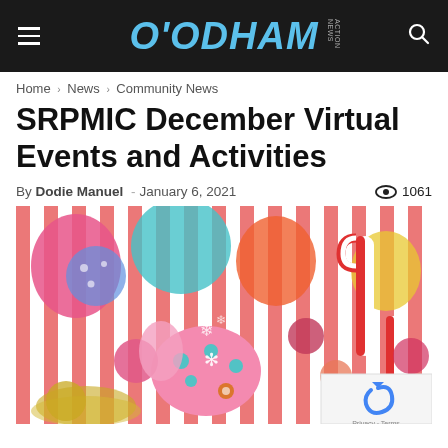O'ODHAM Action News
Home › News › Community News
SRPMIC December Virtual Events and Activities
By Dodie Manuel - January 6, 2021   1061
[Figure (photo): Colorful Christmas holiday decorations including candy canes, polka-dotted ornaments, a pink elephant figurine with snowflake decoration, and various festive items against a red-and-white striped background.]